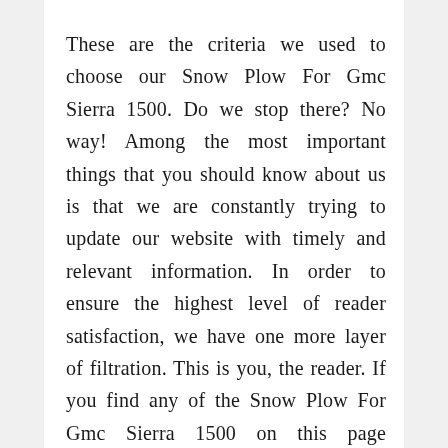These are the criteria we used to choose our Snow Plow For Gmc Sierra 1500. Do we stop there? No way! Among the most important things that you should know about us is that we are constantly trying to update our website with timely and relevant information. In order to ensure the highest level of reader satisfaction, we have one more layer of filtration. This is you, the reader. If you find any of the Snow Plow For Gmc Sierra 1500 on this page incorrect, irrelevant, out of date, or not up to date, please let us know. Your feedback is always welcome and we'll try to promptly correct our list as per your reasonable suggestion.